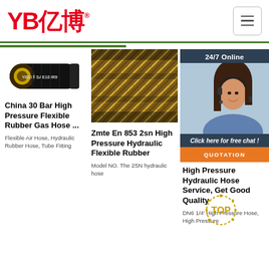[Figure (logo): YB亿博 company logo in red]
[Figure (photo): Black hydraulic rubber hose with YIBO SAE100R9 label]
[Figure (photo): Braided metallic hydraulic hose close-up]
[Figure (photo): Customer service representative with headset, 24/7 Online chat widget with QUOTATION button]
China 30 Bar High Pressure Flexible Rubber Gas Hose ...
Flexible Air Hose, Hydraulic Rubber Hose, Tube Fitting
Zmte En 853 2sn High Pressure Hydraulic Flexible Rubber
Model NO. The 2SN hydraulic hose
High Pressure Hydraulic Hose Service, Get Good Quality
DN6 1/4' High Pressure Hose, High Pressure